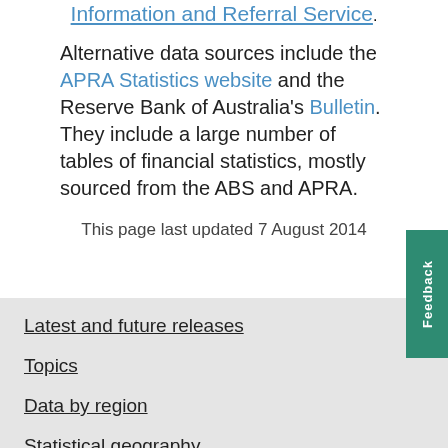Information and Referral Service.
Alternative data sources include the APRA Statistics website and the Reserve Bank of Australia's Bulletin. They include a large number of tables of financial statistics, mostly sourced from the ABS and APRA.
This page last updated 7 August 2014
Latest and future releases
Topics
Data by region
Statistical geography
Microdata and TableBuilder